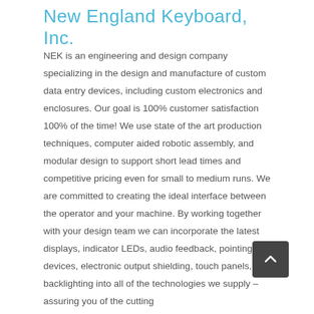New England Keyboard, Inc.
NEK is an engineering and design company specializing in the design and manufacture of custom data entry devices, including custom electronics and enclosures. Our goal is 100% customer satisfaction 100% of the time! We use state of the art production techniques, computer aided robotic assembly, and modular design to support short lead times and competitive pricing even for small to medium runs. We are committed to creating the ideal interface between the operator and your machine. By working together with your design team we can incorporate the latest displays, indicator LEDs, audio feedback, pointing devices, electronic output shielding, touch panels, and backlighting into all of the technologies we supply – assuring you of the cutting